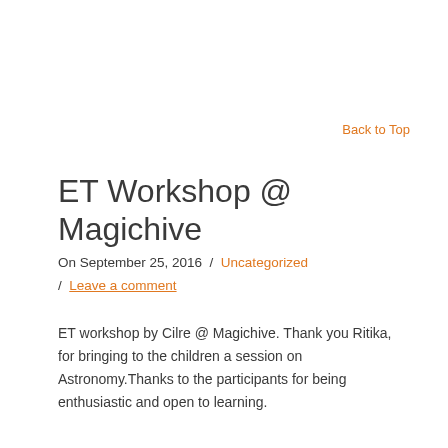Back to Top
ET Workshop @ Magichive
On September 25, 2016  /  Uncategorized  /  Leave a comment
ET workshop by Cilre @ Magichive. Thank you Ritika, for bringing to the children a session on Astronomy.Thanks to the participants for being enthusiastic and open to learning.